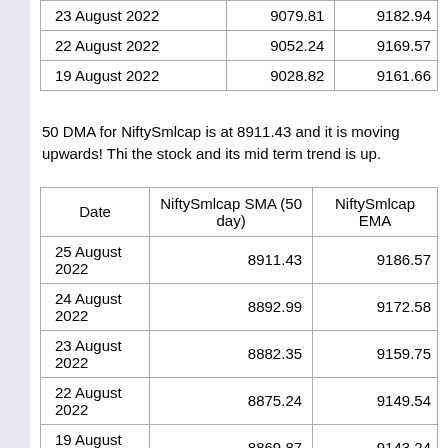| Date | NiftySmlcap SMA (20 day) | NiftySmlcap EMA (20 day) |
| --- | --- | --- |
| 23 August 2022 | 9079.81 | 9182.94 |
| 22 August 2022 | 9052.24 | 9169.57 |
| 19 August 2022 | 9028.82 | 9161.66 |
50 DMA for NiftySmlcap is at 8911.43 and it is moving upwards! This is a bullish sign for the stock and its mid term trend is up.
| Date | NiftySmlcap SMA (50 day) | NiftySmlcap EMA (50 day) |
| --- | --- | --- |
| 25 August 2022 | 8911.43 | 9186.57 |
| 24 August 2022 | 8892.99 | 9172.58 |
| 23 August 2022 | 8882.35 | 9159.75 |
| 22 August 2022 | 8875.24 | 9149.54 |
| 19 August 2022 | 8869.87 | 9143.24 |
100 DMA for NiftySmlcap is at 9316.36 and it is moving downwards. This is a bearish sign for the stock and its mid to long term trend is down.